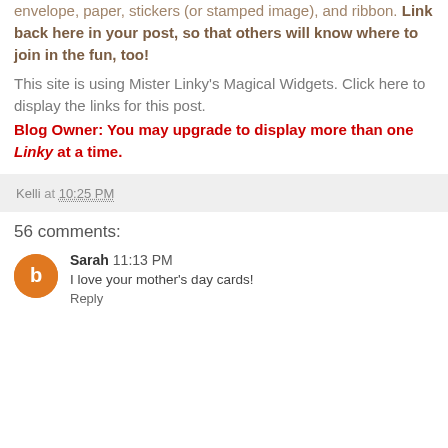envelope, paper, stickers (or stamped image), and ribbon. Link back here in your post, so that others will know where to join in the fun, too!
This site is using Mister Linky's Magical Widgets. Click here to display the links for this post.
Blog Owner: You may upgrade to display more than one Linky at a time.
Kelli at 10:25 PM
56 comments:
Sarah 11:13 PM
I love your mother's day cards!
Reply